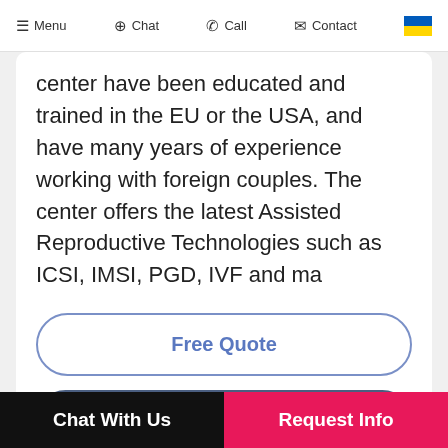Menu  Chat  Call  Contact
center have been educated and trained in the EU or the USA, and have many years of experience working with foreign couples. The center offers the latest Assisted Reproductive Technologies such as ICSI, IMSI, PGD, IVF and ma
Free Quote
Meet the Center
Chat With Us   Request Info